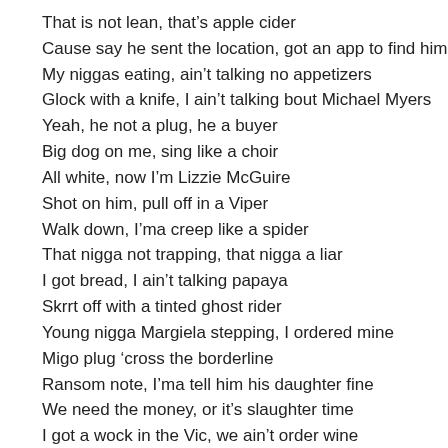That is not lean, that’s apple cider
Cause say he sent the location, got an app to find him
My niggas eating, ain’t talking no appetizers
Glock with a knife, I ain’t talking bout Michael Myers
Yeah, he not a plug, he a buyer
Big dog on me, sing like a choir
All white, now I’m Lizzie McGuire
Shot on him, pull off in a Viper
Walk down, I’ma creep like a spider
That nigga not trapping, that nigga a liar
I got bread, I ain’t talking papaya
Skrrt off with a tinted ghost rider
Young nigga Margiela stepping, I ordered mine
Migo plug ‘cross the borderline
Ransom note, I’ma tell him his daughter fine
We need the money, or it’s slaughter time
I got a wock in the Vic, we ain’t order wine